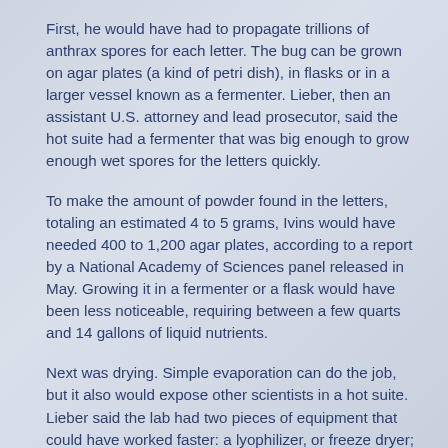First, he would have had to propagate trillions of anthrax spores for each letter. The bug can be grown on agar plates (a kind of petri dish), in flasks or in a larger vessel known as a fermenter. Lieber, then an assistant U.S. attorney and lead prosecutor, said the hot suite had a fermenter that was big enough to grow enough wet spores for the letters quickly.
To make the amount of powder found in the letters, totaling an estimated 4 to 5 grams, Ivins would have needed 400 to 1,200 agar plates, according to a report by a National Academy of Sciences panel released in May. Growing it in a fermenter or a flask would have been less noticeable, requiring between a few quarts and 14 gallons of liquid nutrients.
Next was drying. Simple evaporation can do the job, but it also would expose other scientists in a hot suite. Lieber said the lab had two pieces of equipment that could have worked faster: a lyophilizer, or freeze dryer; and a smaller device called a “Speed Vac.”
Investigators haven’t said whether they think the Sept. 11 attacks prompted Ivins to start making the powder or to accelerate a plan already under way. However, records show that on the weekends after 9/11, Ivins spent more time than he had